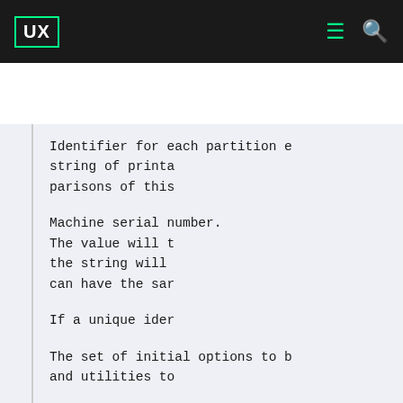UX | The UNIX and Linux Forums
The UNIX and Linux Forums
Identifier for each partition e string of printa parisons of this
Machine serial number. The value will t the string will can have the sar
If a unique ider
The set of initial options to b and utilities to